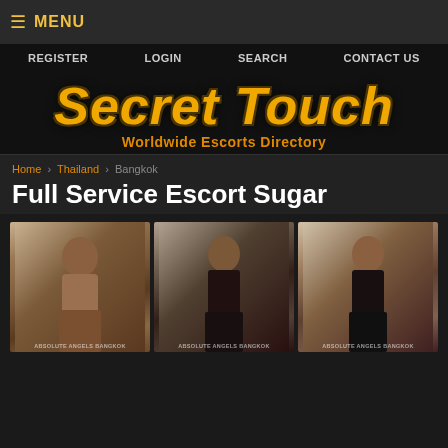≡ MENU
REGISTER  LOGIN  SEARCH  CONTACT US
Secret Touch
Worldwide Escorts Directory
Home › Thailand › Bangkok
Full Service Escort Sugar
[Figure (photo): Three photos of a woman posing indoors]
ABSOLUTE ANGELS BANGKOK